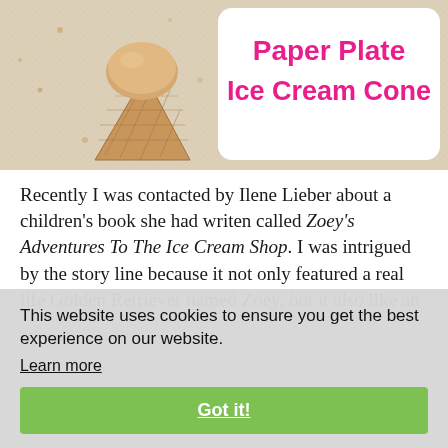[Figure (photo): Photo of a paper plate ice cream cone craft on a textured fabric background, with the title 'Paper Plate Ice Cream Cone' in pink bold text on a white rounded rectangle overlay in the top right.]
Paper Plate Ice Cream Cone
Recently I was contacted by Ilene Lieber about a children's book she had writen called Zoey's Adventures To The Ice Cream Shop. I was intrigued by the story line because it not only featured a real life Golden Retriever named Zoey, but it also like an
This website uses cookies to ensure you get the best experience on our website.
Learn more
Got it!